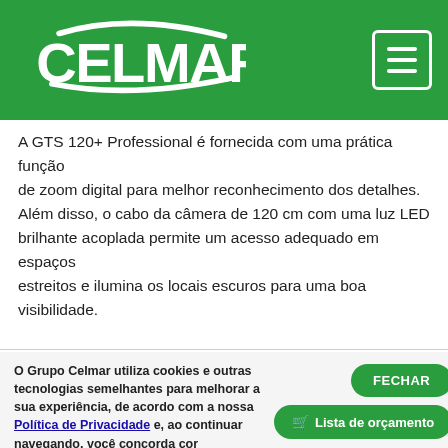[Figure (logo): Celmar company logo in white on green background, with hamburger menu button in top right]
A GTS 120+ Professional é fornecida com uma prática função de zoom digital para melhor reconhecimento dos detalhes. Além disso, o cabo da câmera de 120 cm com uma luz LED brilhante acoplada permite um acesso adequado em espaços estreitos e ilumina os locais escuros para uma boa visibilidade.
O Grupo Celmar utiliza cookies e outras tecnologias semelhantes para melhorar a sua experiência, de acordo com a nossa Política de Privacidade e, ao continuar navegando, você concorda com condições.